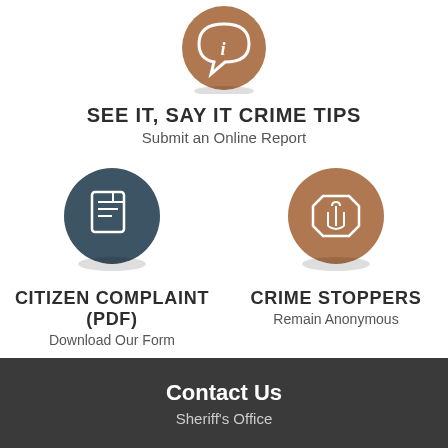[Figure (illustration): Brown circle with white speech bubble 'i' info icon]
SEE IT, SAY IT CRIME TIPS
Submit an Online Report
[Figure (illustration): Dark blue/slate circle with white document/form icon]
CITIZEN COMPLAINT (PDF)
Download Our Form
[Figure (illustration): Brown circle with white hand/stop icon]
CRIME STOPPERS
Remain Anonymous
Contact Us
Sheriff's Office